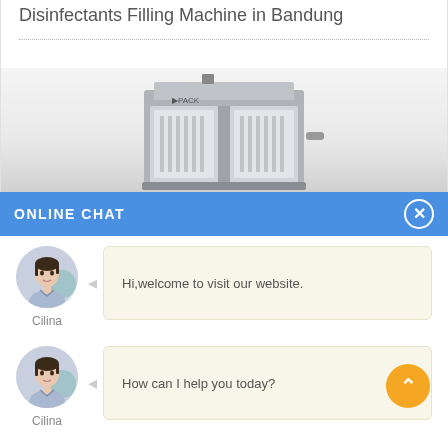Disinfectants Filling Machine in Bandung
[Figure (photo): Industrial disinfectants filling machine, silver/gray stainless steel unit with glass front panels and internal mechanical components, labeled PACK]
ONLINE CHAT
Hi,welcome to visit our website.
Cilina
How can I help you today?
Cilina